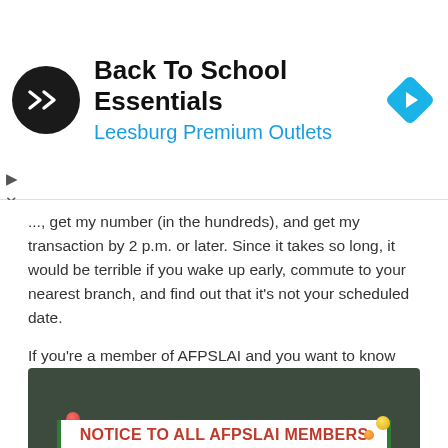[Figure (infographic): Advertisement banner: black circular logo with double arrow icon, text 'Back To School Essentials' and 'Leesburg Premium Outlets' in blue, cyan diamond navigation arrow icon on right. Small play and X controls on left edge.]
..., get my number (in the hundreds), and get my transaction by 2 p.m. or later. Since it takes so long, it would be terrible if you wake up early, commute to your nearest branch, and find out that it's not your scheduled date.
If you're a member of AFPSLAI and you want to know their expected dividend advance schedule this 2020, then check out their schedule on the image below:
[Figure (photo): Photo of a bulletin board with a white paper pinned with red and yellow push pins. The paper has a notice reading 'NOTICE TO ALL AFPSLAI MEMBERS' in bold red text, with green vertical bars on left and right sides.]